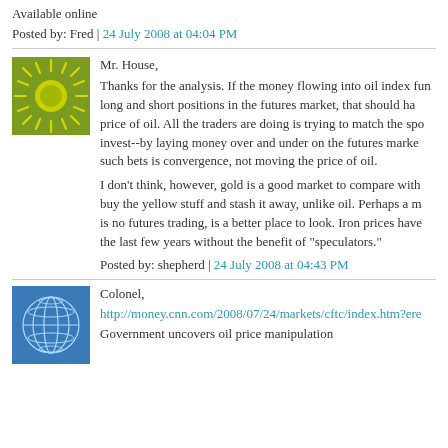Available online
Posted by: Fred | 24 July 2008 at 04:04 PM
[Figure (illustration): Sun/starburst avatar icon with green background and yellow center circle with radiating rays]
Mr. House,

Thanks for the analysis. If the money flowing into oil index fun long and short positions in the futures market, that should ha price of oil. All the traders are doing is trying to match the spo invest--by laying money over and under on the futures marke such bets is convergence, not moving the price of oil.

I don't think, however, gold is a good market to compare with buy the yellow stuff and stash it away, unlike oil. Perhaps a m is no futures trading, is a better place to look. Iron prices have the last few years without the benefit of "speculators."
Posted by: shepherd | 24 July 2008 at 04:43 PM
[Figure (illustration): Globe/earth avatar icon with blue background and white grid lines]
Colonel,

http://money.cnn.com/2008/07/24/markets/cftc/index.htm?ere

Government uncovers oil price manipulation